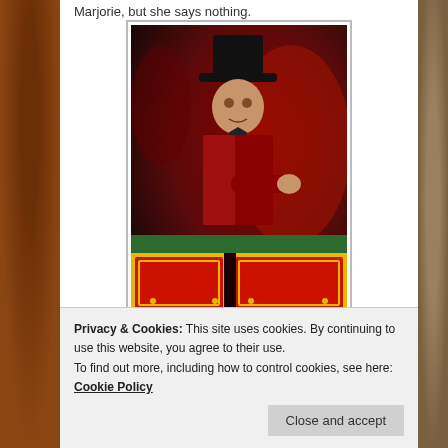Marjorie, but she says nothing.
[Figure (photo): A performer dressed in a red sequined jacket and black top hat standing behind a red and yellow decorated cart or prop box, on a dark reddish stage.]
Privacy & Cookies: This site uses cookies. By continuing to use this website, you agree to their use.
To find out more, including how to control cookies, see here: Cookie Policy
Close and accept